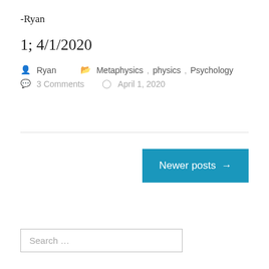-Ryan
1; 4/1/2020
Ryan   Metaphysics, physics, Psychology   3 Comments   April 1, 2020
Newer posts →
Search …